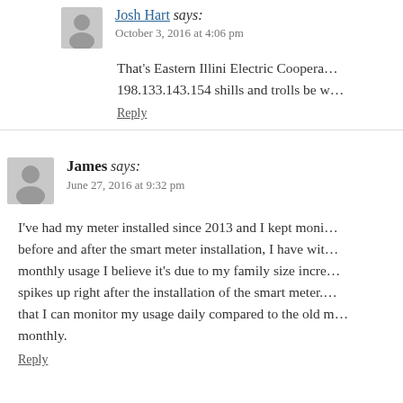Josh Hart says: October 3, 2016 at 4:06 pm
That's Eastern Illini Electric Coopera… 198.133.143.154 shills and trolls be w…
Reply
James says: June 27, 2016 at 9:32 pm
I've had my meter installed since 2013 and I kept moni… before and after the smart meter installation, I have wit… monthly usage I believe it's due to my family size incre… spikes up right after the installation of the smart meter. … that I can monitor my usage daily compared to the old m… monthly.
Reply